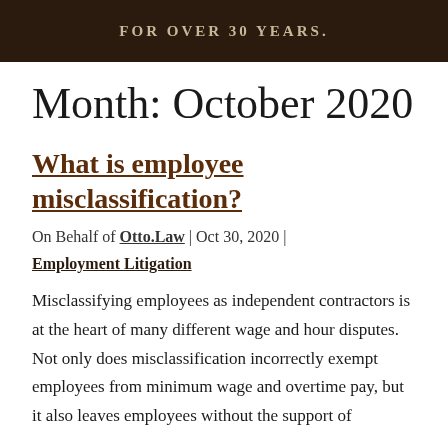FOR OVER 30 YEARS.
Month: October 2020
What is employee misclassification?
On Behalf of Otto.Law | Oct 30, 2020 |
Employment Litigation
Misclassifying employees as independent contractors is at the heart of many different wage and hour disputes. Not only does misclassification incorrectly exempt employees from minimum wage and overtime pay, but it also leaves employees without the support of